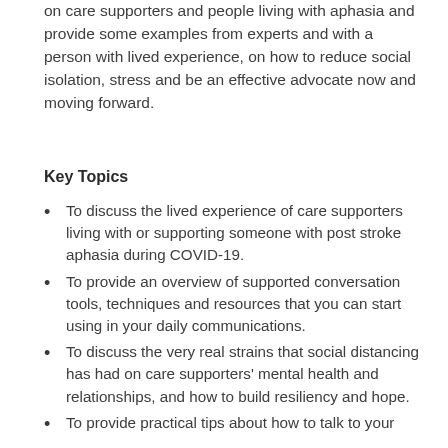on care supporters and people living with aphasia and provide some examples from experts and with a person with lived experience, on how to reduce social isolation, stress and be an effective advocate now and moving forward.
Key Topics
To discuss the lived experience of care supporters living with or supporting someone with post stroke aphasia during COVID-19.
To provide an overview of supported conversation tools, techniques and resources that you can start using in your daily communications.
To discuss the very real strains that social distancing has had on care supporters' mental health and relationships, and how to build resiliency and hope.
To provide practical tips about how to talk to your